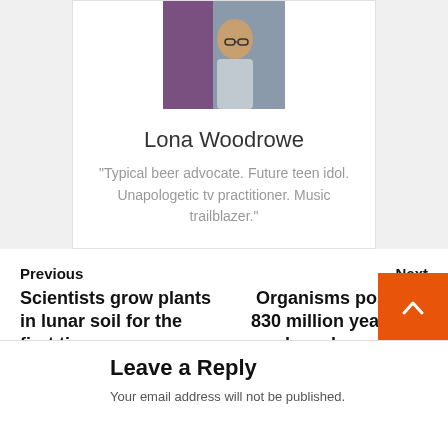[Figure (photo): Author photo of Lona Woodrowe, a woman with glasses and dark hair, smiling, wearing a light-colored top]
Lona Woodrowe
"Typical beer advocate. Future teen idol. Unapologetic tv practitioner. Music trailblazer."
Previous
Scientists grow plants in lunar soil for the first time
Next
Organisms possibly 830 million years old have been found trapped in an ancient rock
Leave a Reply
Your email address will not be published.